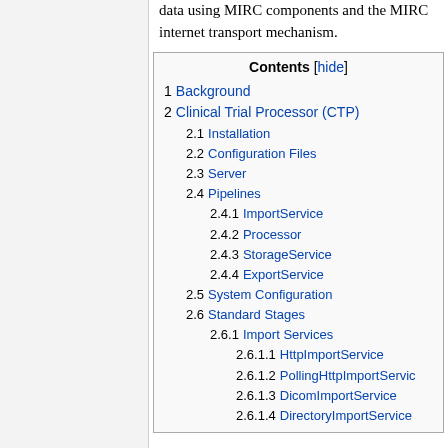data using MIRC components and the MIRC internet transport mechanism.
Contents [hide]
1 Background
2 Clinical Trial Processor (CTP)
2.1 Installation
2.2 Configuration Files
2.3 Server
2.4 Pipelines
2.4.1 ImportService
2.4.2 Processor
2.4.3 StorageService
2.4.4 ExportService
2.5 System Configuration
2.6 Standard Stages
2.6.1 Import Services
2.6.1.1 HttpImportService
2.6.1.2 PollingHttpImportService
2.6.1.3 DicomImportService
2.6.1.4 DirectoryImportService